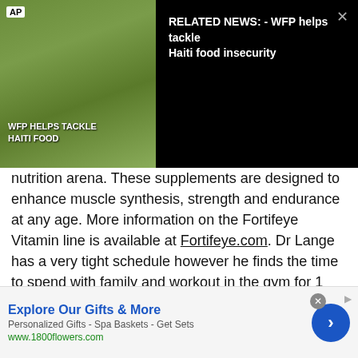[Figure (screenshot): Video overlay showing AP news thumbnail 'WFP HELPS TACKLE HAITI FOOD' with related news label 'RELATED NEWS: - WFP helps tackle Haiti food insecurity' on black background]
nutrition arena.  These supplements are designed to enhance muscle synthesis, strength and endurance at any age.  More information on the Fortifeye Vitamin line is available at Fortifeye.com.  Dr Lange has a very tight schedule however he finds the time to spend with family and workout in the gym for 1 1/2 hrs a day.  He also takes some time to enjoy the sport of automobile racing and motocross.  He is a full competition  race car driver in both SCCA and NASA . He races formula , LMP3 prototypes ,GT race cars and has been known to twist the throttle  at many motocross tracks
[Figure (screenshot): Advertisement banner: 'Explore Our Gifts & More' - Personalized Gifts - Spa Baskets - Get Sets, www.1800flowers.com with blue arrow button]